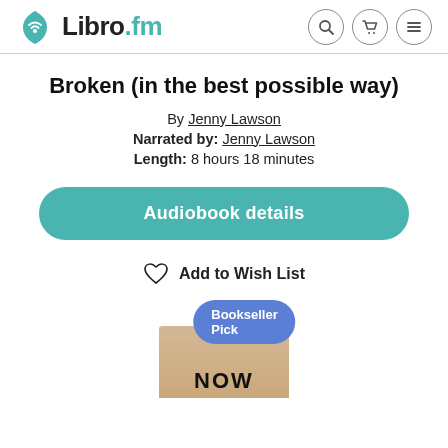Libro.fm
Broken (in the best possible way)
By Jenny Lawson
Narrated by: Jenny Lawson
Length: 8 hours 18 minutes
Audiobook details
Add to Wish List
[Figure (other): Book cover partially visible at bottom with 'Bookseller Pick' badge overlay]